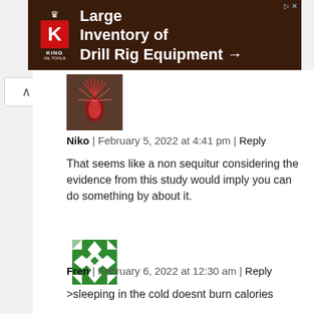[Figure (screenshot): King Oil Tools advertisement banner: 'Large Inventory of Drill Rig Equipment →' with red K logo on dark brown background with drill rig image]
[Figure (photo): Small avatar thumbnail showing a red feathery/spiny sea creature]
Niko | February 5, 2022 at 4:41 pm | Reply
That seems like a non sequitur considering the evidence from this study would imply you can do something by about it.
[Figure (illustration): Green and white geometric quilt-pattern avatar icon]
Fren | February 6, 2022 at 12:30 am | Reply
>sleeping in the cold doesnt burn calories